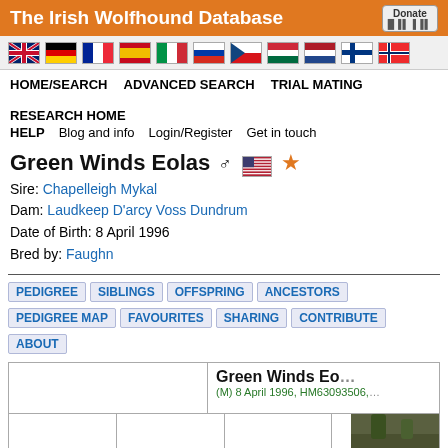The Irish Wolfhound Database
[Figure (other): Row of country flag icons: UK, Germany, France, Spain, Italy, Russia, Czech Republic, Hungary, Netherlands, Finland, Norway]
HOME/SEARCH   ADVANCED SEARCH   TRIAL MATING   RESEARCH HOME
HELP   Blog and info   Login/Register   Get in touch
Green Winds Eolas ♂ 🇺🇸 ★
Sire: Chapelleigh Mykal
Dam: Laudkeep D'arcy Voss Dundrum
Date of Birth: 8 April 1996
Bred by: Faughn
PEDIGREE  SIBLINGS  OFFSPRING  ANCESTORS  PEDIGREE MAP
FAVOURITES  SHARING  CONTRIBUTE  ABOUT
|  |  |  | Green Winds Eolas |
| --- | --- | --- | --- |
|  |  |  | (M) 8 April 1996, HM63093506, |
[Figure (photo): Partial photo of an Irish Wolfhound dog, visible in bottom right corner of pedigree table]